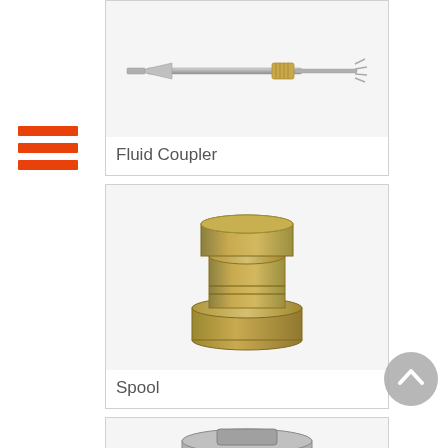[Figure (illustration): Hamburger menu icon with three horizontal orange/red bars]
[Figure (photo): Fluid Coupler - a long slender metal tool with a pointed tip on one end and a cylindrical fitting in the middle, photographed against a light gray background]
Fluid Coupler
[Figure (photo): Spool - a gold/brass colored cylindrical spool-shaped machined metal part, wider at top and base, photographed against a light gray background]
Spool
[Figure (photo): Partial view of a third product - a gray metal part partially visible at the bottom of the page]
[Figure (illustration): Scroll-to-top circular button with upward chevron arrow, gray colored]